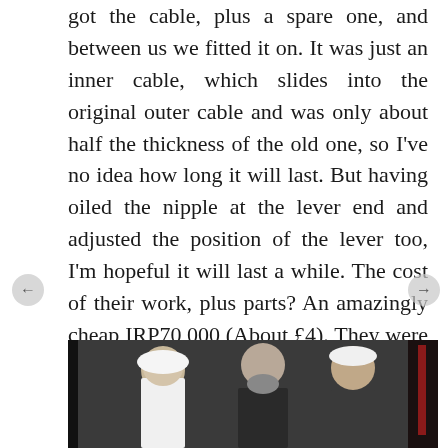got the cable, plus a spare one, and between us we fitted it on. It was just an inner cable, which slides into the original outer cable and was only about half the thickness of the old one, so I've no idea how long it will last. But having oiled the nipple at the lever end and adjusted the position of the lever too, I'm hopeful it will last a while. The cost of their work, plus parts? An amazingly cheap IRP70,000 (About £4). They were delighted when I gave them 100k and said to keep the change. That price included the oil too. Fantastic.
[Figure (photo): Group photo of people standing together, partially visible at the bottom of the page]